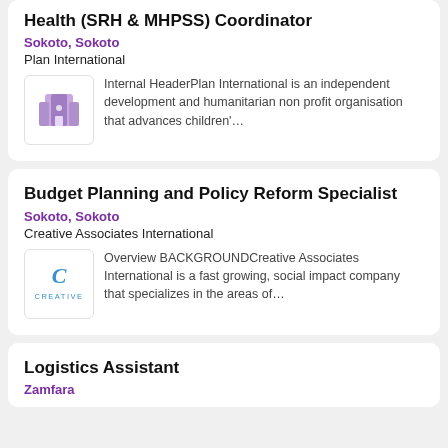Health (SRH & MHPSS) Coordinator
Sokoto, Sokoto
Plan International
[Figure (logo): Plan International logo - purple building icon]
Internal HeaderPlan International is an independent development and humanitarian non profit organisation that advances children'...
Budget Planning and Policy Reform Specialist
Sokoto, Sokoto
Creative Associates International
[Figure (logo): Creative Associates International logo - blue C with CREATIVE text]
Overview BACKGROUNDCreative Associates International is a fast growing, social impact company that specializes in the areas of...
Logistics Assistant
Zamfara